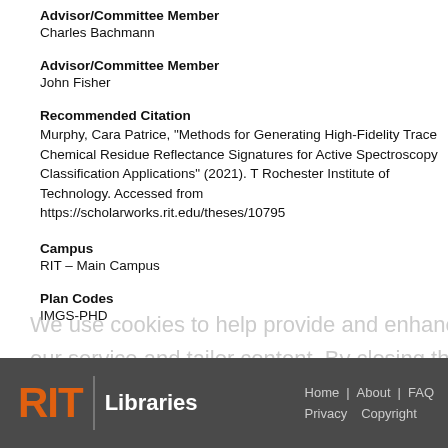Advisor/Committee Member
Charles Bachmann
Advisor/Committee Member
John Fisher
Recommended Citation
Murphy, Cara Patrice, "Methods for Generating High-Fidelity Trace Chemical Residue Reflectance Signatures for Active Spectroscopy Classification Applications" (2021). T Rochester Institute of Technology. Accessed from https://scholarworks.rit.edu/theses/10795
Campus
RIT – Main Campus
Plan Codes
IMGS-PHD
RIT Libraries | Home | About | FAQ | Privacy | Copyright